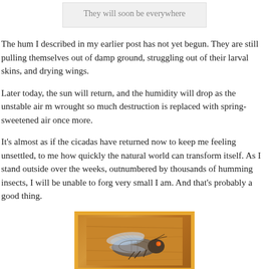They will soon be everywhere
The hum I described in my earlier post has not yet begun. They are still pulling themselves out of damp ground, struggling out of their larval skins, and drying wings.
Later today, the sun will return, and the humidity will drop as the unstable air m wrought so much destruction is replaced with spring-sweetened air once more.
It’s almost as if the cicadas have returned now to keep me feeling unsettled, to me how quickly the natural world can transform itself. As I stand outside over the weeks, outnumbered by thousands of humming insects, I will be unable to forg very small I am. And that’s probably a good thing.
[Figure (photo): Close-up photograph of a cicada insect resting on a wooden surface, showing its translucent wings and orange eyes.]